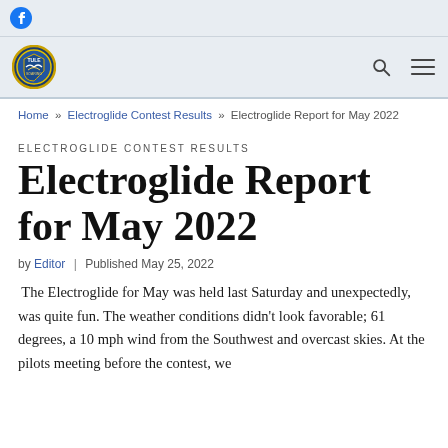Facebook icon (social link bar)
[Figure (logo): Organization shield/crest logo with blue and yellow coloring, navigation bar with search and hamburger menu icons]
Home » Electroglide Contest Results » Electroglide Report for May 2022
ELECTROGLIDE CONTEST RESULTS
Electroglide Report for May 2022
by Editor | Published May 25, 2022
The Electroglide for May was held last Saturday and unexpectedly, was quite fun. The weather conditions didn't look favorable; 61 degrees, a 10 mph wind from the Southwest and overcast skies. At the pilots meeting before the contest, we